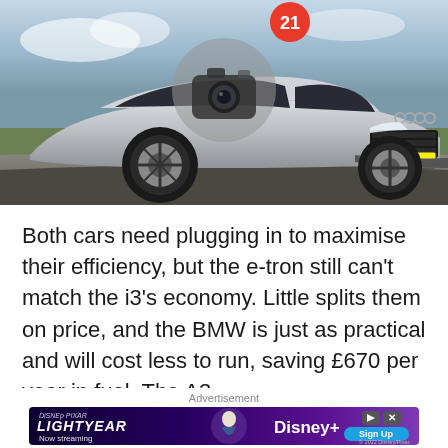[Figure (photo): Silver Audi A3 car photographed from front-left angle on a road, with camera icon overlay and red badge showing number 21, license plate KX66 RXL visible]
Both cars need plugging in to maximise their efficiency, but the e-tron still can't match the i3's economy. Little splits them on price, and the BMW is just as practical and will cost less to run, saving £670 per year in fuel. The A3 simply isn't as versatile, relying on its engine more and
Advertisement
[Figure (photo): Disney Pixar Lightyear advertisement banner showing Buzz Lightyear character, with Disney+ logo, 'Now streaming' text and 'Sign Up' button]